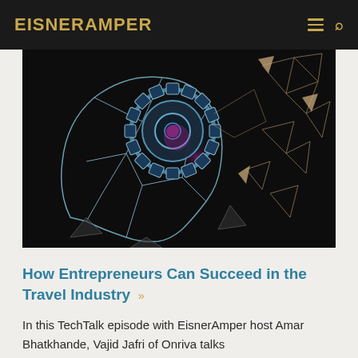EisnerAmper
[Figure (illustration): Digital illustration of a human head in profile made of glowing wireframe geometric lines and triangles, with a large glowing mechanical gear/cog wheel in the brain area, featuring blue and pink/magenta light effects against a dark background.]
How Entrepreneurs Can Succeed in the Travel Industry
In this TechTalk episode with EisnerAmper host Amar Bhatkhande, Vajid Jafri of Onriva talks